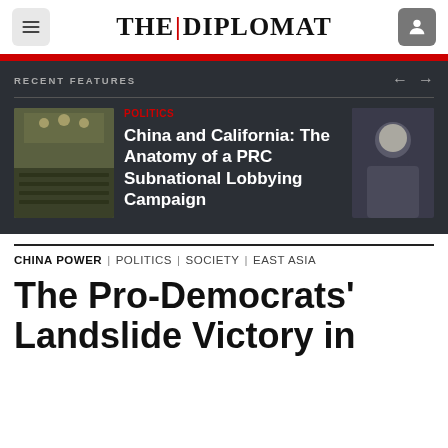THE DIPLOMAT
RECENT FEATURES
China and California: The Anatomy of a PRC Subnational Lobbying Campaign
CHINA POWER | POLITICS | SOCIETY | EAST ASIA
The Pro-Democrats' Landslide Victory in